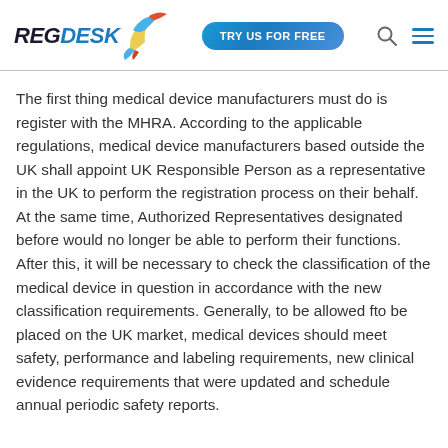REGDESK | TRY US FOR FREE
The first thing medical device manufacturers must do is register with the MHRA. According to the applicable regulations, medical device manufacturers based outside the UK shall appoint UK Responsible Person as a representative in the UK to perform the registration process on their behalf. At the same time, Authorized Representatives designated before would no longer be able to perform their functions. After this, it will be necessary to check the classification of the medical device in question in accordance with the new classification requirements. Generally, to be allowed fto be placed on the UK market, medical devices should meet safety, performance and labeling requirements, new clinical evidence requirements that were updated and schedule annual periodic safety reports.